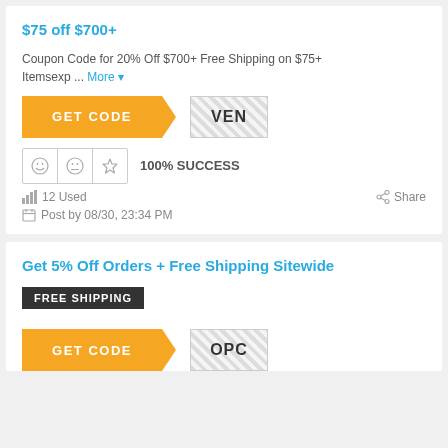$75 off $700+
Coupon Code for 20% Off $700+ Free Shipping on $75+ Itemsexp ... More
[Figure (other): Orange GET CODE button with diagonal arrow leading to a hatched code reveal area showing 'VEN']
100% SUCCESS
12 Used
Share
Post by 08/30, 23:34 PM
Get 5% Off Orders + Free Shipping Sitewide
FREE SHIPPING
[Figure (other): Orange GET CODE button with diagonal arrow leading to hatched code reveal area showing 'OPC']